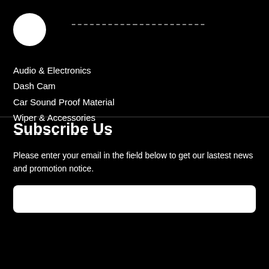[Figure (logo): White circle logo in top left corner]
Audio & Electronics
Dash Cam
Car Sound Proof Material
Wiper & Accessories
Subscribe Us
Please enter your email in the field below to get our lastest news and promotion notice.
[Figure (other): White rounded rectangle email input field]
[Figure (logo): Green circle icon in bottom left]
Visitor : 133448
© 2020-2022 K. K. Lau Car Audio Specialist Sdn Bhd 746227-W | Privacy Policy